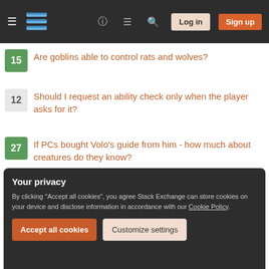[Figure (screenshot): Stack Exchange navigation bar with hamburger menu, logo, help/chat/search icons, Log in and Sign up buttons]
15 Are goblins able to control rats and wolves?
12 Should I request an ability check only when the player asks for it?
27 If PCs bought Volo's guide from him - how much about creatures do they know?
19 My Ranger missed picking a "favored enemy language" when I started. Is it fair for me to pick one now that I'm in the midst of a campaign?
24 Is there a mechanic for a PC to learn the relative strength of an opponent, stat-wise?
Your privacy
By clicking "Accept all cookies", you agree Stack Exchange can store cookies on your device and disclose information in accordance with our Cookie Policy.
Accept all cookies   Customize settings